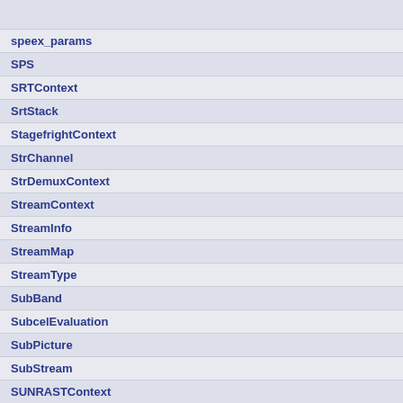|  |
| speex_params |
| SPS |
| SRTContext |
| SrtStack |
| StagefrightContext |
| StrChannel |
| StrDemuxContext |
| StreamContext |
| StreamInfo |
| StreamMap |
| StreamType |
| SubBand |
| SubcelEvaluation |
| SubPicture |
| SubStream |
| SUNRASTContext |
| SuperBlock |
| svq1_frame_size |
| svq1_pmv_s |